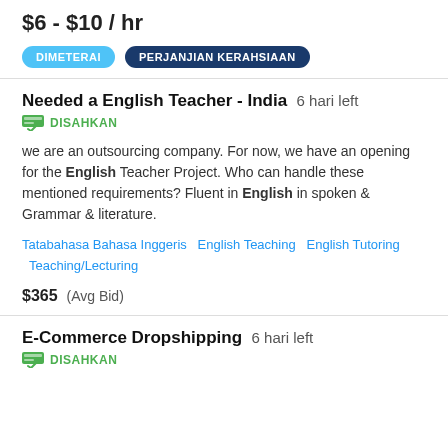$6 - $10 / hr
DIMETERAI   PERJANJIAN KERAHSIAAN
Needed a English Teacher - India   6 hari left
DISAHKAN
we are an outsourcing company. For now, we have an opening for the English Teacher Project. Who can handle these mentioned requirements? Fluent in English in spoken & Grammar & literature.
Tatabahasa Bahasa Inggeris   English Teaching   English Tutoring   Teaching/Lecturing
$365  (Avg Bid)
E-Commerce Dropshipping   6 hari left
DISAHKAN